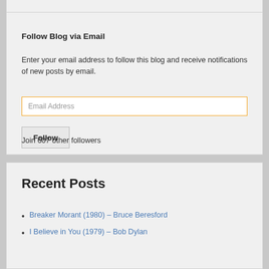Follow Blog via Email
Enter your email address to follow this blog and receive notifications of new posts by email.
Email Address
Follow
Join 607 other followers
Recent Posts
Breaker Morant (1980) – Bruce Beresford
I Believe in You (1979) – Bob Dylan